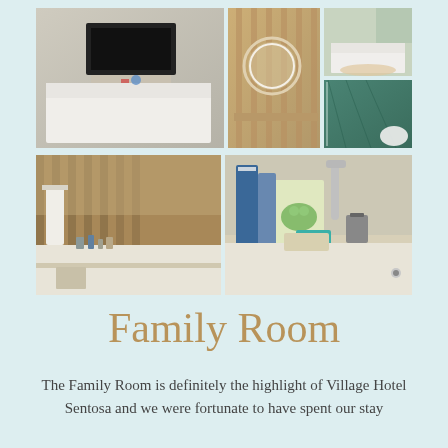[Figure (photo): Collage of two rows of hotel room photos showing the Family Room at Village Hotel Sentosa. Top row: bedroom with TV and white bed, dressing area with round mirror, bedroom view, and marble bathroom. Bottom row: hotel room amenities counter with bathrobe and toiletries, and a close-up of the bathroom sink area with children's books and toiletries.]
Family Room
The Family Room is definitely the highlight of Village Hotel Sentosa and we were fortunate to have spent our stay